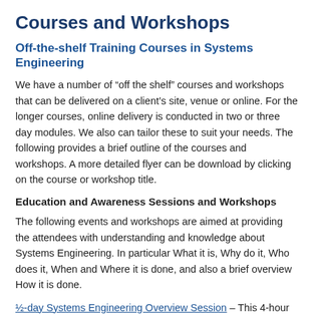Courses and Workshops
Off-the-shelf Training Courses in Systems Engineering
We have a number of “off the shelf” courses and workshops that can be delivered on a client’s site, venue or online. For the longer courses, online delivery is conducted in two or three day modules. We also can tailor these to suit your needs. The following provides a brief outline of the courses and workshops. A more detailed flyer can be download by clicking on the course or workshop title.
Education and Awareness Sessions and Workshops
The following events and workshops are aimed at providing the attendees with understanding and knowledge about Systems Engineering. In particular What it is, Why do it, Who does it, When and Where it is done, and also a brief overview How it is done.
½-day Systems Engineering Overview Session – This 4-hour session is about providing an overview of Systems Engineering, explaining What it is and Why organizations employ it to manage complexity.